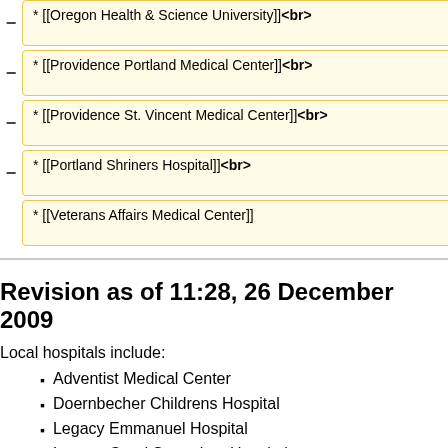* [[Oregon Health & Science University]]<br>
* [[Providence Portland Medical Center]]<br>
* [[Providence St. Vincent Medical Center]]<br>
* [[Portland Shriners Hospital]]<br>
* [[Veterans Affairs Medical Center]]
Revision as of 11:28, 26 December 2009
Local hospitals include:
Adventist Medical Center
Doernbecher Childrens Hospital
Legacy Emmanuel Hospital
Legacy Good Samaritan Hospital
Oregon Health & Science University
Providence Portland Medical Center
Providence St. Vincent Medical Center